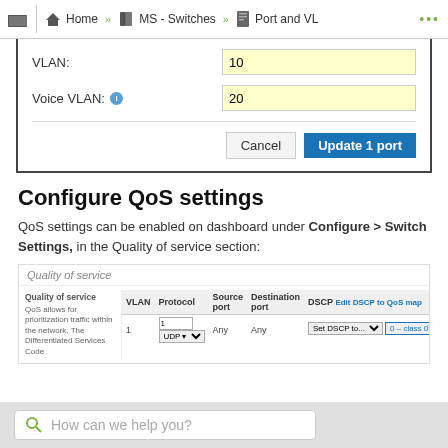Home » MS - Switches » Port and VL ...
[Figure (screenshot): Dialog box with VLAN field showing value 10 and Voice VLAN field showing value 20, with Cancel and Update 1 port buttons]
Configure QoS settings
QoS settings can be enabled on dashboard under Configure > Switch Settings, in the Quality of service section:
[Figure (screenshot): Quality of service UI screenshot showing a table with columns: VLAN, Protocol, Source port, Destination port, DSCP with Edit DSCP to QoS map link. Row 1 shows: 1, UDP dropdown, Any, Any, Set DSCP to dropdown, 0 - class 0 (default) dropdown, with add/remove icons.]
How can we help you?